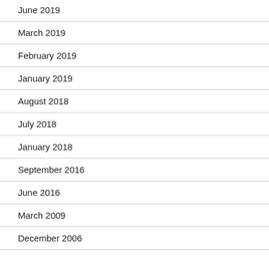June 2019
March 2019
February 2019
January 2019
August 2018
July 2018
January 2018
September 2016
June 2016
March 2009
December 2006